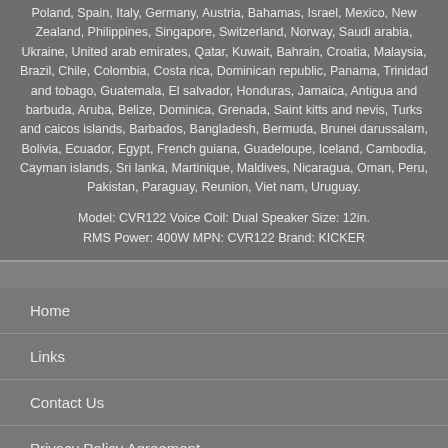Poland, Spain, Italy, Germany, Austria, Bahamas, Israel, Mexico, New Zealand, Philippines, Singapore, Switzerland, Norway, Saudi arabia, Ukraine, United arab emirates, Qatar, Kuwait, Bahrain, Croatia, Malaysia, Brazil, Chile, Colombia, Costa rica, Dominican republic, Panama, Trinidad and tobago, Guatemala, El salvador, Honduras, Jamaica, Antigua and barbuda, Aruba, Belize, Dominica, Grenada, Saint kitts and nevis, Turks and caicos islands, Barbados, Bangladesh, Bermuda, Brunei darussalam, Bolivia, Ecuador, Egypt, French guiana, Guadeloupe, Iceland, Cambodia, Cayman islands, Sri lanka, Martinique, Maldives, Nicaragua, Oman, Peru, Pakistan, Paraguay, Reunion, Viet nam, Uruguay.
Model: CVR122 Voice Coil: Dual Speaker Size: 12in. RMS Power: 400W MPN: CVR122 Brand: KICKER
Home
Links
Contact Us
Privacy Policy Agreement
Terms of service